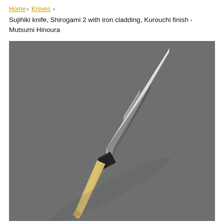Home › Knives ›
Sujihiki knife, Shirogami 2 with iron cladding, Kurouchi finish - Mutsumi Hinoura
[Figure (photo): A Japanese Sujihiki knife with a long silver blade featuring Kurouchi (blacksmith) finish near the spine, and a traditional wooden handle with a black buffalo horn bolster, photographed on a dark grey textured background.]